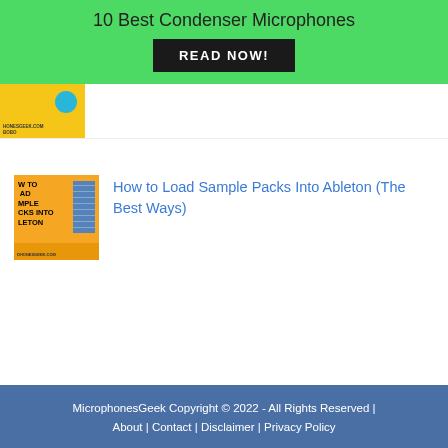10 Best Condenser Microphones
[Figure (screenshot): Black button with text READ NOW!]
[Figure (screenshot): Partially visible yellow thumbnail with honesgeek.com URL and teal circle]
[Figure (screenshot): Yellow thumbnail for How to Load Sample Packs Into Ableton article, showing bold text on yellow background with grid graphic]
How to Load Sample Packs Into Ableton (The Best Ways)
MicrophonesGeek Copyright © 2022 - All Rights Reserved | About | Contact | Disclaimer | Privacy Policy